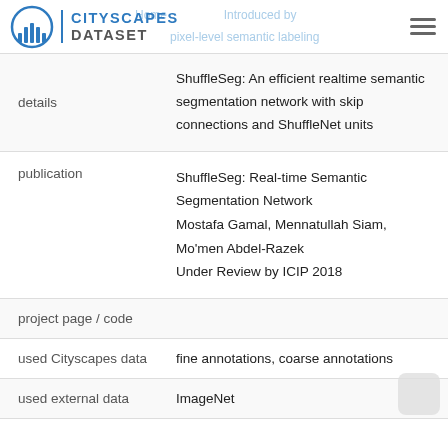CITYSCAPES DATASET
| Field | Value |
| --- | --- |
| details | ShuffleSeg: An efficient realtime semantic segmentation network with skip connections and ShuffleNet units |
| publication | ShuffleSeg: Real-time Semantic Segmentation Network
Mostafa Gamal, Mennatullah Siam, Mo'men Abdel-Razek
Under Review by ICIP 2018 |
| project page / code |  |
| used Cityscapes data | fine annotations, coarse annotations |
| used external data | ImageNet |